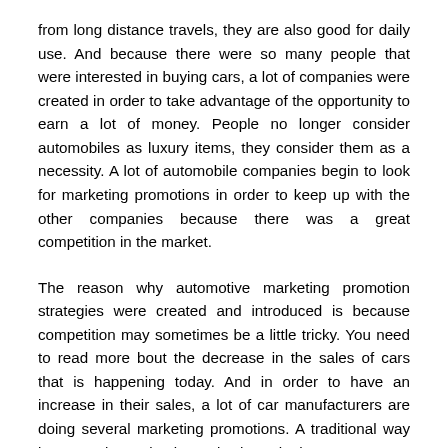from long distance travels, they are also good for daily use. And because there were so many people that were interested in buying cars, a lot of companies were created in order to take advantage of the opportunity to earn a lot of money. People no longer consider automobiles as luxury items, they consider them as a necessity. A lot of automobile companies begin to look for marketing promotions in order to keep up with the other companies because there was a great competition in the market.
The reason why automotive marketing promotion strategies were created and introduced is because competition may sometimes be a little tricky. You need to read more bout the decrease in the sales of cars that is happening today. And in order to have an increase in their sales, a lot of car manufacturers are doing several marketing promotions. A traditional way in promoting a business is through the newspapers. But there are some car dealers that are looking for other ways to promote their products such using the number of social networking sites. This site will let you read